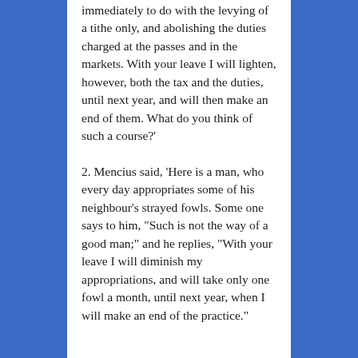immediately to do with the levying of a tithe only, and abolishing the duties charged at the passes and in the markets. With your leave I will lighten, however, both the tax and the duties, until next year, and will then make an end of them. What do you think of such a course?'
2. Mencius said, 'Here is a man, who every day appropriates some of his neighbour's strayed fowls. Some one says to him, "Such is not the way of a good man;" and he replies, "With your leave I will diminish my appropriations, and will take only one fowl a month, until next year, when I will make an end of the practice."'